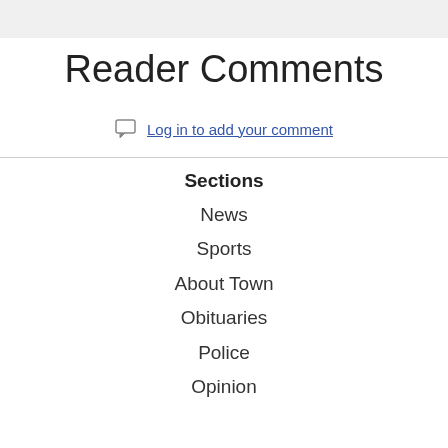Reader Comments
Log in to add your comment
Sections
News
Sports
About Town
Obituaries
Police
Opinion